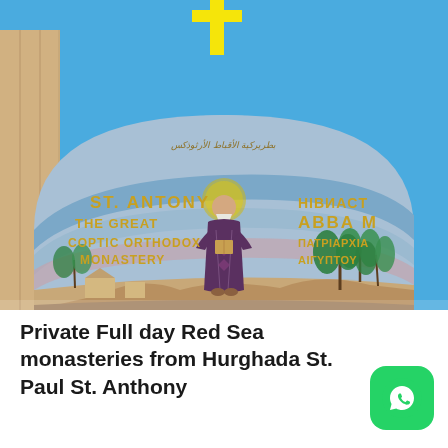[Figure (photo): Photo of a mosaic arch above a monastery entrance showing St. Antony (the Coptic Orthodox monastery icon) with text reading 'ST. ANTONY THE GREAT COPTIC ORTHODOX MONASTERY' on the left side and 'ABBA M...' partially visible on the right. A yellow cross rises above the arch against a bright blue sky.]
Private Full day Red Sea monasteries from Hurghada St. Paul St. Anthony